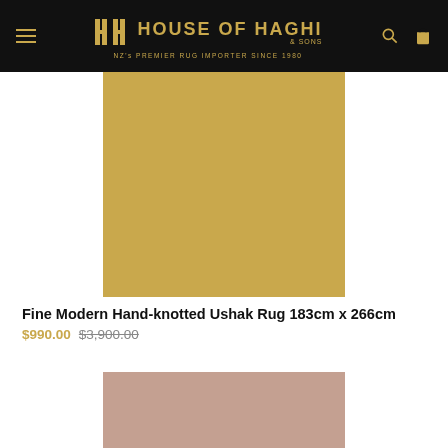House of Haghi - NZ's Premier Rug Importer Since 1980
[Figure (photo): Tan/gold colored rug product photo placeholder]
Fine Modern Hand-knotted Ushak Rug 183cm x 266cm
$990.00 $3,900.00
[Figure (photo): Pink/mauve colored rug product photo placeholder]